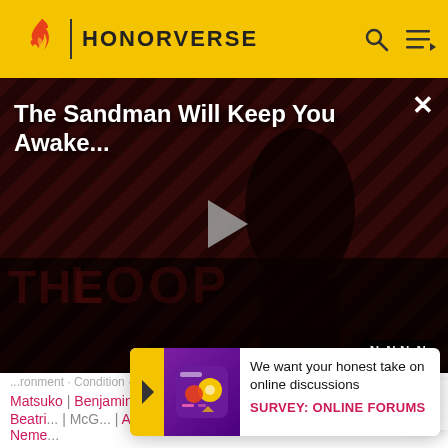HONORVERSE
[Figure (screenshot): Video player showing 'The Sandman Will Keep You Awake...' with a dark figure on a striped background with THE LOOP logo, play button in center, NaN:NaN time display]
Matsuko | Benjamin Mavundia | Wendell McCollum | Beatri... | McGo... | Ama... | Neme...
[Figure (infographic): Survey popup: 'We want your honest take on online discussions' SURVEY: ONLINE FORUMS with colorful icon]